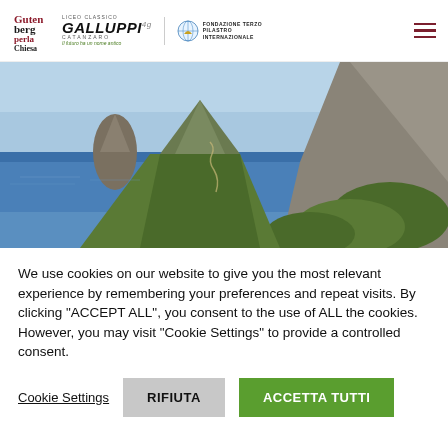Gutenberg per la Chiesa | Liceo Classico Galluppi Catanzaro | Fondazione Terzo Pilastro Internazionale
[Figure (photo): Scenic coastal landscape with rocky mountains, cliffs, blue sea, and green vegetation under a clear sky]
We use cookies on our website to give you the most relevant experience by remembering your preferences and repeat visits. By clicking "ACCEPT ALL", you consent to the use of ALL the cookies. However, you may visit "Cookie Settings" to provide a controlled consent.
Cookie Settings | RIFIUTA | ACCETTA TUTTI